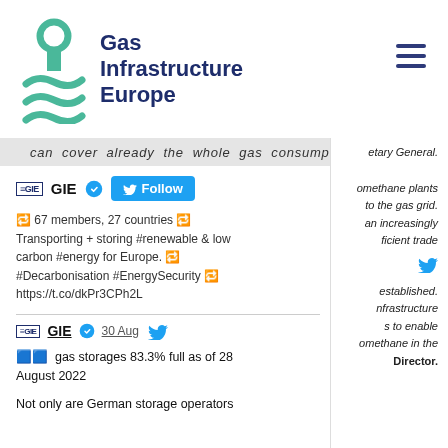[Figure (logo): Gas Infrastructure Europe logo with GIE text and green circular/wave icon]
can cover already the whole gas consumption of
etary General.
[Figure (screenshot): GIE Twitter profile section with follow button]
🔁 67 members, 27 countries 🔁 Transporting + storing #renewable & low carbon #energy for Europe. 🔁 #Decarbonisation #EnergySecurity 🔁 https://t.co/dkPr3CPh2L
omethane plants
to the gas grid.
an increasingly
ficient trade
established.
nfrastructure
s to enable
omethane in the
Director.
🟦🟦 gas storages 83.3% full as of 28 August 2022
Not only are German storage operators